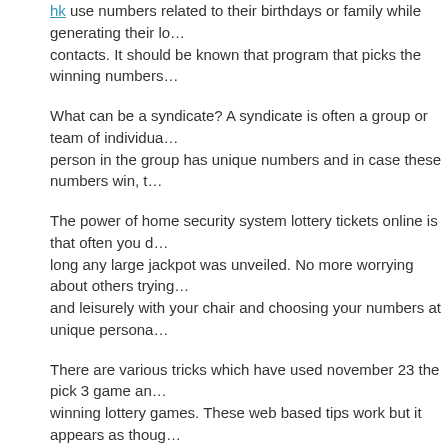hk use numbers related to their birthdays or family while generating their lo... contacts. It should be known that program that picks the winning numbers...
What can be a syndicate? A syndicate is often a group or team of individua... person in the group has unique numbers and in case these numbers win, t...
The power of home security system lottery tickets online is that often you d... long any large jackpot was unveiled. No more worrying about others trying... and leisurely with your chair and choosing your numbers at unique persona...
There are various tricks which have used november 23 the pick 3 game an... winning lottery games. These web based tips work but it appears as thoug... lottery games is to take up either all odd numbers or all even numbers. Ne... numbers and using one form of numbers is bound to make won by you.
When applying these recommendations for playing the lottery just keep un... techniques that you have opted.
FILED UNDER: UNCATEGORIZED ·